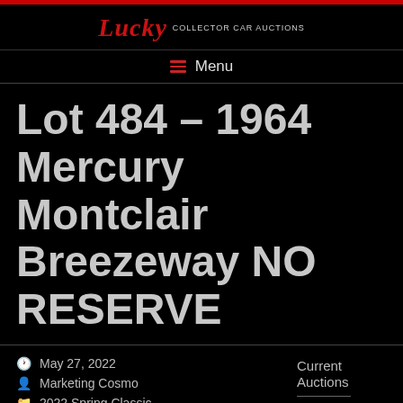Lucky Collector Car Auctions
Lot 484 – 1964 Mercury Montclair Breezeway NO RESERVE
May 27, 2022
Marketing Cosmo
2022 Spring Classic
Current Auctions
2022 Fall Classic